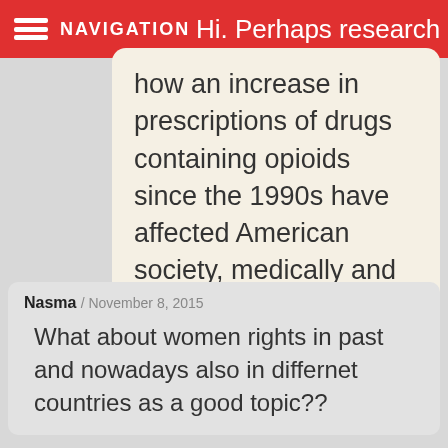NAVIGATION
Hi. Perhaps research how an increase in prescriptions of drugs containing opioids since the 1990s have affected American society, medically and otherwise.
Nasma / November 8, 2015
What about women rights in past and nowadays also in differnet countries as a good topic??